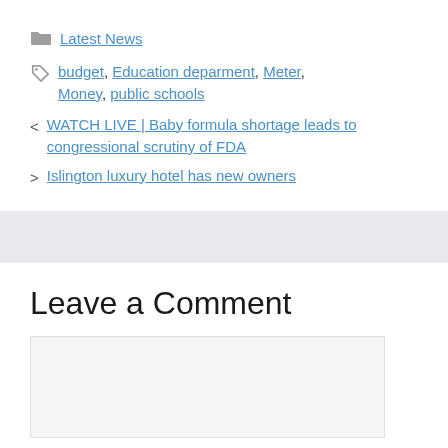Latest News
budget, Education deparment, Meter, Money, public schools
< WATCH LIVE | Baby formula shortage leads to congressional scrutiny of FDA
> Islington luxury hotel has new owners
Leave a Comment